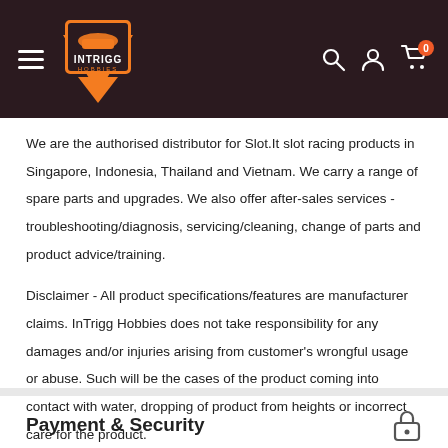[Figure (logo): InTrigg Hobbies logo with navigation bar on dark brown background, including hamburger menu, logo, search icon, user icon, and cart icon with 0 badge]
We are the authorised distributor for Slot.It slot racing products in Singapore, Indonesia, Thailand and Vietnam. We carry a range of spare parts and upgrades. We also offer after-sales services - troubleshooting/diagnosis, servicing/cleaning, change of parts and product advice/training.
Disclaimer - All product specifications/features are manufacturer claims. InTrigg Hobbies does not take responsibility for any damages and/or injuries arising from customer's wrongful usage or abuse. Such will be the cases of the product coming into contact with water, dropping of product from heights or incorrect care for the product.
Payment & Security